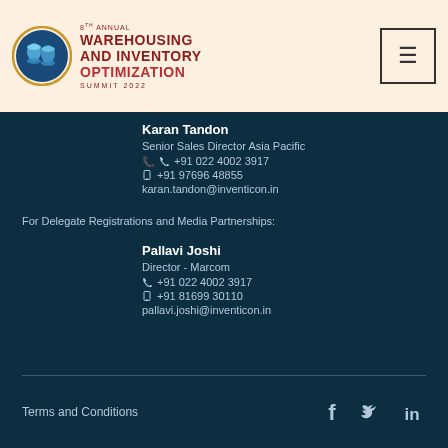[Figure (logo): 8th Annual Warehousing and Inventory Optimization Summit 2022 logo with circular blue icon]
Karan Tandon
Senior Sales Director Asia Pacific
📞 +91 022 4002 3917
📱 +91 97696 48855
karan.tandon@inventicon.in
For Delegate Registrations and Media Partnerships:
Pallavi Joshi
Director - Marcom
📞 +91 022 4002 3917
📱 +91 81699 30110
pallavi.joshi@inventicon.in
Terms and Conditions
[Figure (illustration): Social media icons: Facebook, Twitter, LinkedIn]